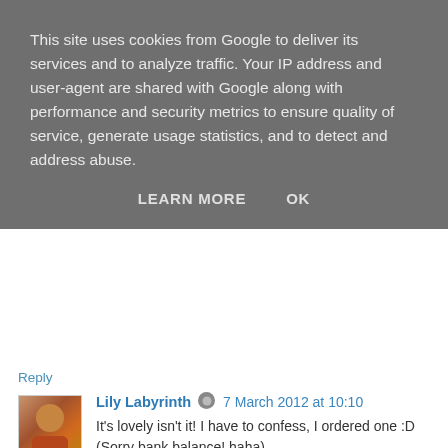This site uses cookies from Google to deliver its services and to analyze traffic. Your IP address and user-agent are shared with Google along with performance and security metrics to ensure quality of service, generate usage statistics, and to detect and address abuse.
LEARN MORE   OK
Reply
Lily Labyrinth 7 March 2012 at 10:10
It's lovely isn't it! I have to confess, I ordered one :D (Sorry bank balance! haha)
Thanks for your comment. x
Reply
Hena Tayeb 8 March 2012 at 16:51
I love the foxy belt and the feather dress.